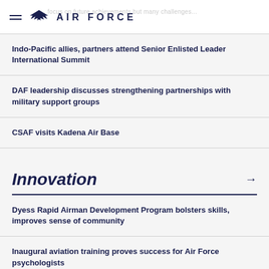AIR FORCE
Indo-Pacific allies, partners attend Senior Enlisted Leader International Summit
DAF leadership discusses strengthening partnerships with military support groups
CSAF visits Kadena Air Base
Innovation
Dyess Rapid Airman Development Program bolsters skills, improves sense of community
Inaugural aviation training proves success for Air Force psychologists